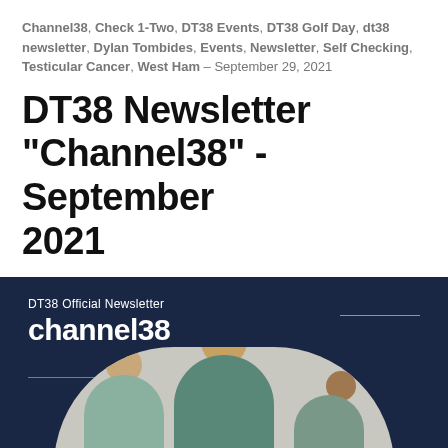Channel38, Check 1-Two, DT38 Events, DT38 Golf Day, dt38 newsletter, Dylan Tombides, Events, Newsletter, Self Checking, Testicular Cancer, West Ham - September 29, 2021
DT38 Newsletter "Channel38" - September 2021
[Figure (photo): DT38 Official Newsletter 'channel38' banner on dark navy background with horizontal decorative lines, and a photo of young men (including Dylan Tombides) inside an arch/rounded rectangle cutout at the bottom]